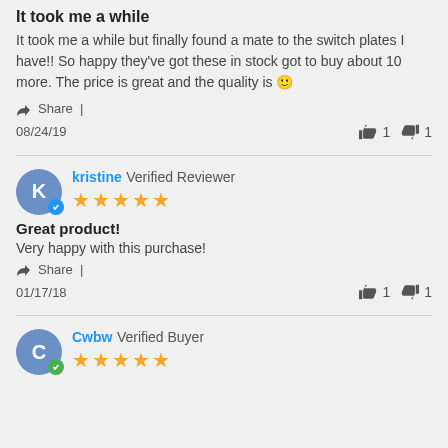It took me a while
It took me a while but finally found a mate to the switch plates I have!! So happy they've got these in stock got to buy about 10 more. The price is great and the quality is 🙂
Share |
08/24/19   👍 1   👎 1
kristine Verified Reviewer ★★★★★
Great product!
Very happy with this purchase!
Share |
01/17/18   👍 1   👎 1
Cwbw Verified Buyer ★★★★★